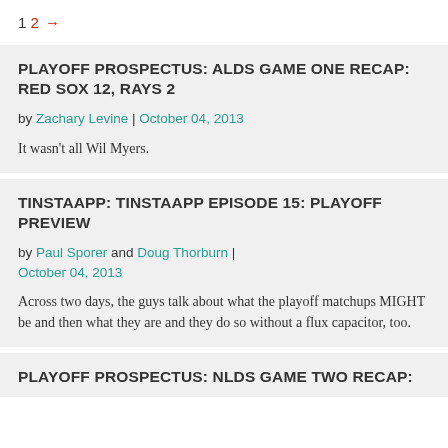1 2 →
PLAYOFF PROSPECTUS: ALDS GAME ONE RECAP: RED SOX 12, RAYS 2
by Zachary Levine | October 04, 2013
It wasn't all Wil Myers.
TINSTAAPP: TINSTAAPP EPISODE 15: PLAYOFF PREVIEW
by Paul Sporer and Doug Thorburn | October 04, 2013
Across two days, the guys talk about what the playoff matchups MIGHT be and then what they are and they do so without a flux capacitor, too.
PLAYOFF PROSPECTUS: NLDS GAME TWO RECAP: